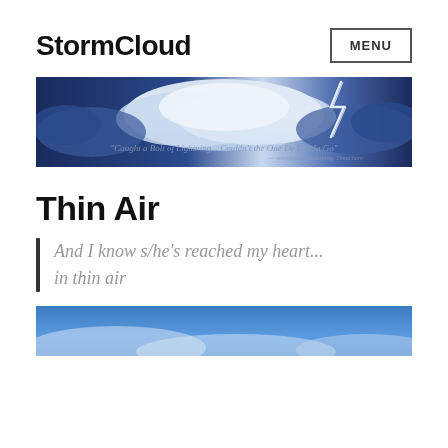StormCloud
[Figure (illustration): Storm cloud banner image with lightning and text: 'Caught a Bolt of Lightning... Couldn't the One De Lee Ja Go']
Thin Air
And I know s/he's reached my heart... in thin air
[Figure (photo): Blue sky with clouds, bottom portion of page]